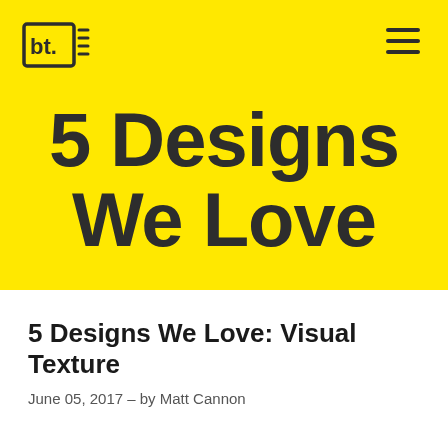[Figure (logo): bt. logo — newspaper-style icon with 'bt.' text inside a box outline, dark color on yellow background]
5 Designs We Love
5 Designs We Love: Visual Texture
June 05, 2017 - by Matt Cannon